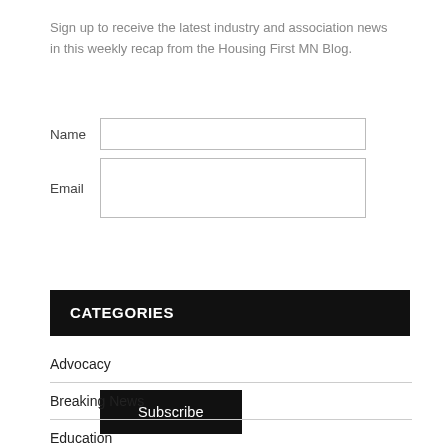Sign up to receive the latest industry and association news in this weekly recap from the Housing First MN Blog.
Name [input field]
Email [input field]
Subscribe
CATEGORIES
Advocacy
Breaking News
Education
Elections
Events